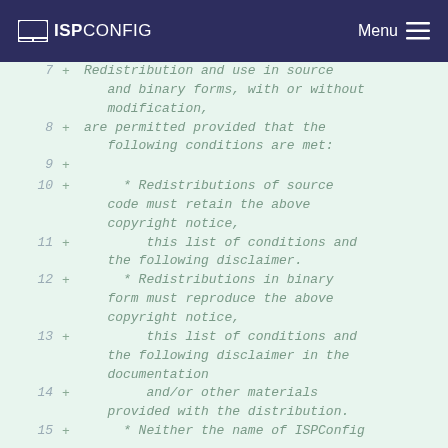ISPConfig Menu
7  + Redistribution and use in source and binary forms, with or without modification,
8  + are permitted provided that the following conditions are met:
9  +
10 +     * Redistributions of source code must retain the above copyright notice,
11 +       this list of conditions and the following disclaimer.
12 +     * Redistributions in binary form must reproduce the above copyright notice,
13 +       this list of conditions and the following disclaimer in the documentation
14 +       and/or other materials provided with the distribution.
15 +     * Neither the name of ISPConfig